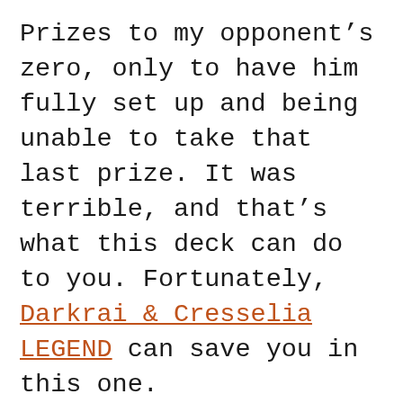Prizes to my opponent's zero, only to have him fully set up and being unable to take that last prize. It was terrible, and that's what this deck can do to you. Fortunately, Darkrai & Cresselia LEGEND can save you in this one.
If your opponent is unable to remove the damage on their bench fast enough, Moon's Invite can cripple their entire setup by letting you Knock Out multiple things at once. In the games I've played against this deck a single Moon's Invite